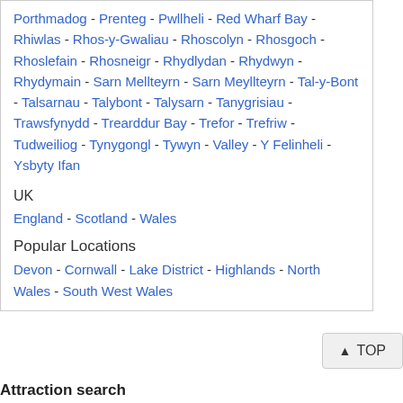Porthmadog - Prenteg - Pwllheli - Red Wharf Bay - Rhiwlas - Rhos-y-Gwaliau - Rhoscolyn - Rhosgoch - Rhoslefain - Rhosneigr - Rhydlydan - Rhydwyn - Rhydymain - Sarn Mellteyrn - Sarn Meyllteyrn - Tal-y-Bont - Talsarnau - Talybont - Talysarn - Tanygrisiau - Trawsfynydd - Trearddur Bay - Trefor - Trefriw - Tudweiliog - Tynygongl - Tywyn - Valley - Y Felinheli - Ysbyty Ifan
UK
England - Scotland - Wales
Popular Locations
Devon - Cornwall - Lake District - Highlands - North Wales - South West Wales
TOP
Attraction search